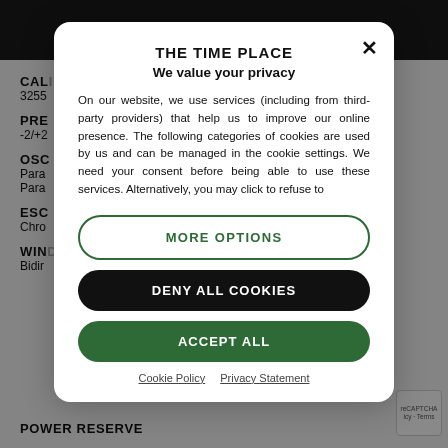[Figure (screenshot): Dark website background with hamburger menu icon, partially visible product specification page content showing labels: CALIBRE, PRECISION, OSCILLATOR, ESCAPEMENT, WINDING, POWER RESERVE with truncated values]
[Figure (screenshot): Cookie consent modal dialog for 'THE TIME PLACE' website with title, privacy text, More Options button, Deny All Cookies button, Accept All button, and links to Cookie Policy and Privacy Statement]
THE TIME PLACE
We value your privacy
On our website, we use services (including from third-party providers) that help us to improve our online presence. The following categories of cookies are used by us and can be managed in the cookie settings. We need your consent before being able to use these services. Alternatively, you may click to refuse to
MORE OPTIONS
DENY ALL COOKIES
ACCEPT ALL
Cookie Policy   Privacy Statement